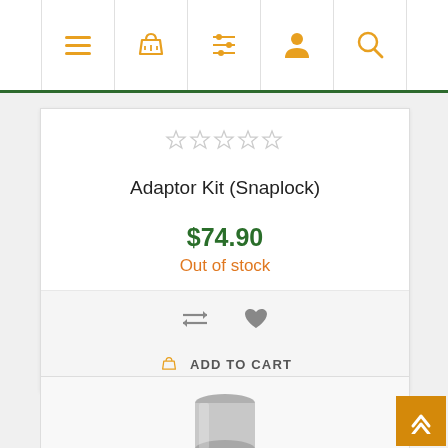[Figure (screenshot): Navigation bar with 5 icon buttons: hamburger menu, shopping basket, list/filter, user profile, and search magnifier — all in golden/amber color on white background with dark green top border]
[Figure (screenshot): Five empty star rating icons in a horizontal row]
Adaptor Kit (Snaplock)
$74.90
Out of stock
[Figure (screenshot): Compare arrows icon and heart/wishlist icon in grey]
ADD TO CART
[Figure (photo): Partial view of a metal/chrome cylindrical adaptor component on white background]